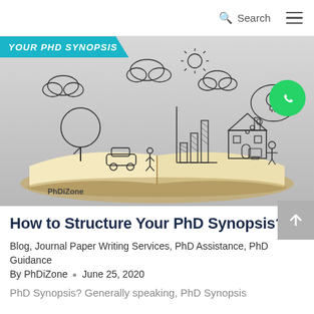Search
[Figure (illustration): An open book with hand-drawn doodles rising from its pages including clouds, a sun, a bar chart, a house, a tree, a car, people with computers, and a thought bubble with a lightbulb. 'PhDiZone' watermark at bottom left. A teal banner at top left reads 'YOUR PHD SYNOPSIS'.]
How to Structure Your PhD Synopsis?
Blog, Journal Paper Writing Services, PhD Assistance, PhD Guidance
By PhDiZone • June 25, 2020
PhD Synopsis? Generally speaking, PhD Synopsis